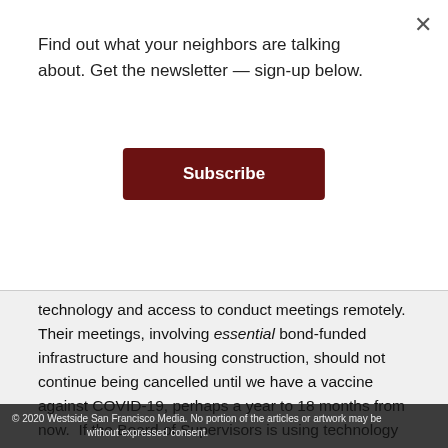Find out what your neighbors are talking about. Get the newsletter — sign-up below.
Subscribe
technology and access to conduct meetings remotely. Their meetings, involving essential bond-funded infrastructure and housing construction, should not continue being cancelled until we have a vaccine against COVID-19, perhaps a year to 18 months from now.  If the Board of Supervisors is using technology successfully to hold remote meetings, then all policy bodies dealing with essential City business should be equipped for remote meetings, too.
After all, on March 17, 2020 the Board of Supervisors authorized their full Board and Sub-Committee meetings to convene remotely and allow for remote public comment, pursuant to restrictions on videoconferencing and teleconferencing without expressed consent. limited: All City policy
© 2020 Westside San Francisco Media. No portion of the articles or artwork may be without expressed consent.